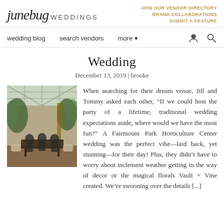junebug WEDDINGS | JOIN OUR VENDOR DIRECTORY | BRAND COLLABORATIONS | SUBMIT A FEATURE
wedding blog | search vendors | more
Wedding
December 13, 2019 | brooke
[Figure (photo): Wedding party photo inside a greenhouse venue — bridesmaids seated around a table with tropical plants and glass ceiling]
When searching for their dream venue, Jill and Tommy asked each other, “If we could host the party of a lifetime, traditional wedding expectations aside, where would we have the most fun?” A Fairmount Park Horticulture Center wedding was the perfect vibe—laid back, yet stunning—for their day! Plus, they didn’t have to worry about inclement weather getting in the way of decor or the magical florals Vault + Vine created. We’re swooning over the details [...]